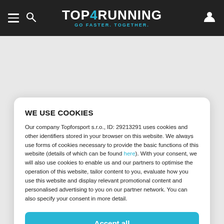TOP4RUNNING — GO FASTER. TOGETHER.
WE USE COOKIES
Our company Topforsport s.r.o., ID: 29213291 uses cookies and other identifiers stored in your browser on this website. We always use forms of cookies necessary to provide the basic functions of this website (details of which can be found here). With your consent, we will also use cookies to enable us and our partners to optimise the operation of this website, tailor content to you, evaluate how you use this website and display relevant promotional content and personalised advertising to you on our partner network. You can also specify your consent in more detail.
Accept all
Detailed settings